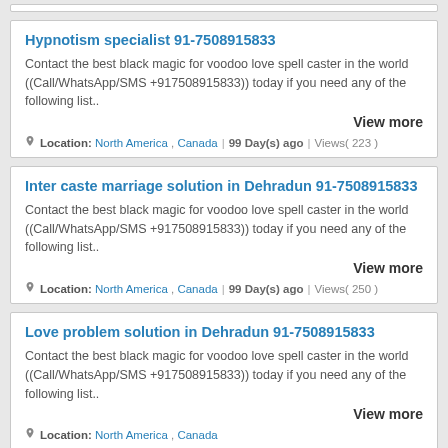Hypnotism specialist 91-7508915833
Contact the best black magic for voodoo love spell caster in the world ((Call/WhatsApp/SMS +917508915833)) today if you need any of the following list..
View more
Location: North America , Canada | 99 Day(s) ago | Views( 223 )
Inter caste marriage solution in Dehradun 91-7508915833
Contact the best black magic for voodoo love spell caster in the world ((Call/WhatsApp/SMS +917508915833)) today if you need any of the following list..
View more
Location: North America , Canada | 99 Day(s) ago | Views( 250 )
Love problem solution in Dehradun 91-7508915833
Contact the best black magic for voodoo love spell caster in the world ((Call/WhatsApp/SMS +917508915833)) today if you need any of the following list..
View more
Location: North America , Canada